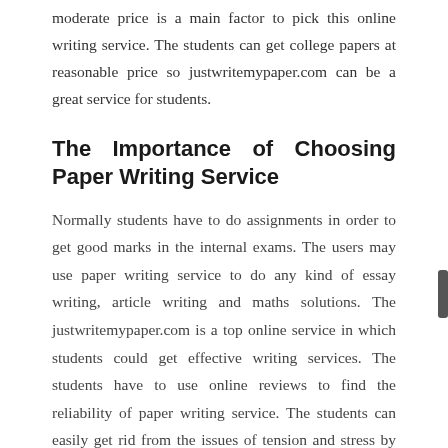moderate price is a main factor to pick this online writing service. The students can get college papers at reasonable price so justwritemypaper.com can be a great service for students.
The Importance of Choosing Paper Writing Service
Normally students have to do assignments in order to get good marks in the internal exams. The users may use paper writing service to do any kind of essay writing, article writing and maths solutions. The justwritemypaper.com is a top online service in which students could get effective writing services. The students have to use online reviews to find the reliability of paper writing service. The students can easily get rid from the issues of tension and stress by submitting assignments and others within a particular time.